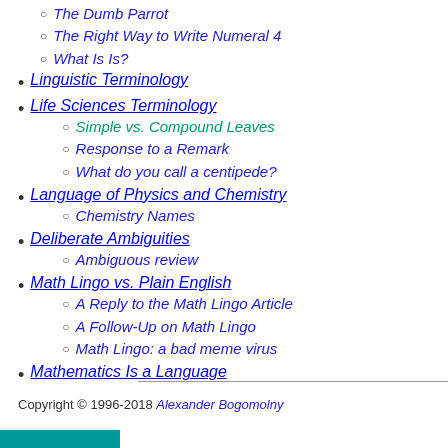The Dumb Parrot
The Right Way to Write Numeral 4
What Is Is?
Linguistic Terminology
Life Sciences Terminology
Simple vs. Compound Leaves
Response to a Remark
What do you call a centipede?
Language of Physics and Chemistry
Chemistry Names
Deliberate Ambiguities
Ambiguous review
Math Lingo vs. Plain English
A Reply to the Math Lingo Article
A Follow-Up on Math Lingo
Math Lingo: a bad meme virus
Mathematics Is a Language
Copyright © 1996-2018 Alexander Bogomolny